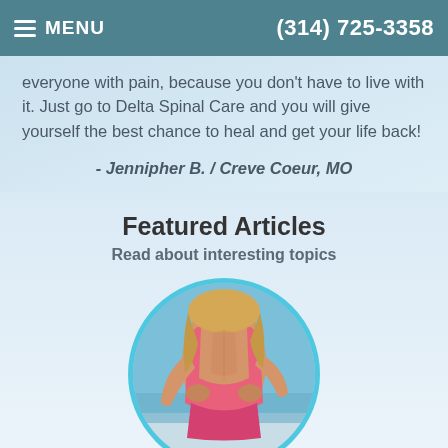MENU | (314) 725-3358
everyone with pain, because you don't have to live with it. Just go to Delta Spinal Care and you will give yourself the best chance to heal and get your life back!
- Jennipher B. / Creve Coeur, MO
Featured Articles
Read about interesting topics
[Figure (photo): Circular cropped photo of a woman in a pink athletic top holding her lower back, at a beach setting. The image is framed in a circular shape with a light blue border.]